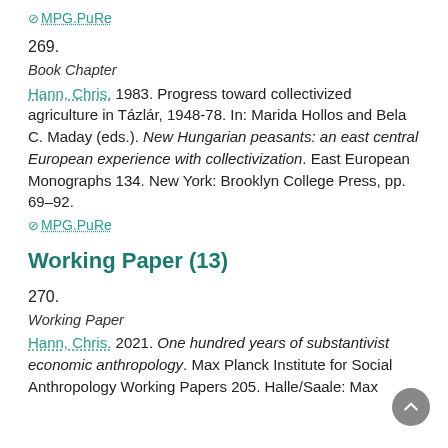⊘ MPG.PuRe
269.
Book Chapter
Hann, Chris. 1983. Progress toward collectivized agriculture in Tázlár, 1948-78. In: Marida Hollos and Bela C. Maday (eds.). New Hungarian peasants: an east central European experience with collectivization. East European Monographs 134. New York: Brooklyn College Press, pp. 69–92.
⊘ MPG.PuRe
Working Paper (13)
270.
Working Paper
Hann, Chris. 2021. One hundred years of substantivist economic anthropology. Max Planck Institute for Social Anthropology Working Papers 205. Halle/Saale: Max